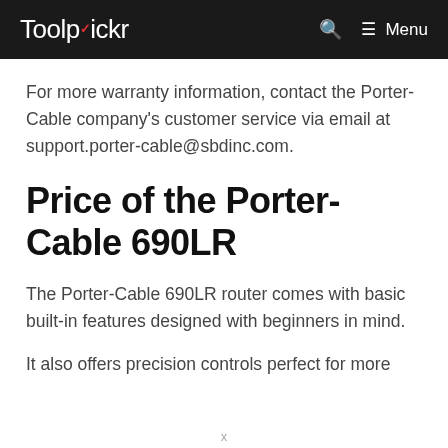Toolpickr  🔍  ☰ Menu
For more warranty information, contact the Porter-Cable company's customer service via email at support.porter-cable@sbdinc.com.
Price of the Porter-Cable 690LR
The Porter-Cable 690LR router comes with basic built-in features designed with beginners in mind.
It also offers precision controls perfect for more